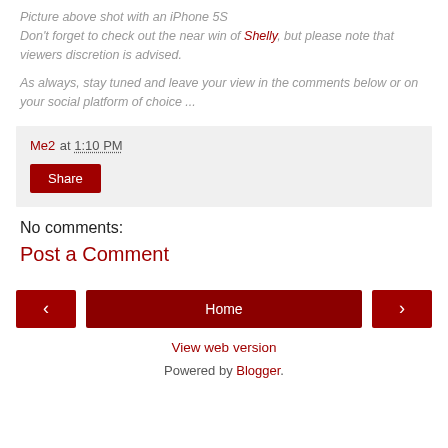Picture above shot with an iPhone 5S
Don't forget to check out the near win of Shelly, but please note that viewers discretion is advised.
As always, stay tuned and leave your view in the comments below or on your social platform of choice ...
Me2 at 1:10 PM
Share
No comments:
Post a Comment
< Home >
View web version
Powered by Blogger.